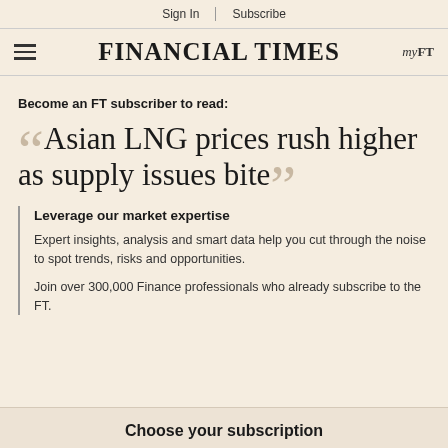Sign In  |  Subscribe
FINANCIAL TIMES  myFT
Become an FT subscriber to read:
Asian LNG prices rush higher as supply issues bite
Leverage our market expertise
Expert insights, analysis and smart data help you cut through the noise to spot trends, risks and opportunities.
Join over 300,000 Finance professionals who already subscribe to the FT.
Choose your subscription